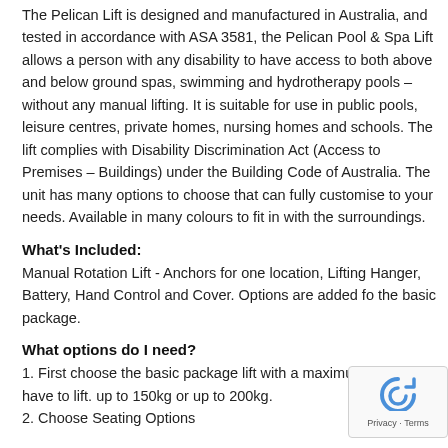The Pelican Lift is designed and manufactured in Australia, and tested in accordance with ASA 3581, the Pelican Pool & Spa Lift allows a person with any disability to have access to both above and below ground spas, swimming and hydrotherapy pools – without any manual lifting. It is suitable for use in public pools, leisure centres, private homes, nursing homes and schools. The lift complies with Disability Discrimination Act (Access to Premises – Buildings) under the Building Code of Australia. The unit has many options to choose that can fully customise to your needs. Available in many colours to fit in with the surroundings.
What's Included:
Manual Rotation Lift - Anchors for one location, Lifting Hanger, Battery, Hand Control and Cover. Options are added fo the basic package.
What options do I need?
1. First choose the basic package lift with a maximum weight you have to lift. up to 150kg or up to 200kg.
2. Choose Seating Options